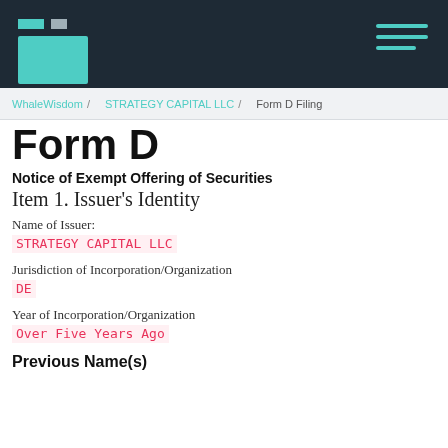WhaleWisdom / STRATEGY CAPITAL LLC / Form D Filing
Form D
Notice of Exempt Offering of Securities
Item 1. Issuer's Identity
Name of Issuer:
STRATEGY CAPITAL LLC
Jurisdiction of Incorporation/Organization
DE
Year of Incorporation/Organization
Over Five Years Ago
Previous Name(s)